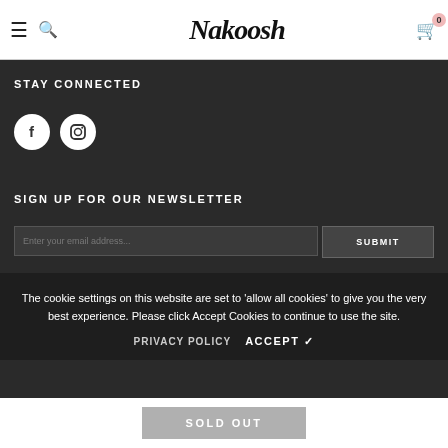Nakoosh — navigation header with hamburger, search, logo, and cart (0 items)
STAY CONNECTED
[Figure (illustration): Two social media icon buttons: Facebook (f) and Instagram (camera icon), white circles on dark background]
SIGN UP FOR OUR NEWSLETTER
Email input field and SUBMIT button
The cookie settings on this website are set to 'allow all cookies' to give you the very best experience. Please click Accept Cookies to continue to use the site.
PRIVACY POLICY   ACCEPT ✔
© 2022 Nakoosh  All Rights Reserved  Developed by 3Tech.
SOLD OUT